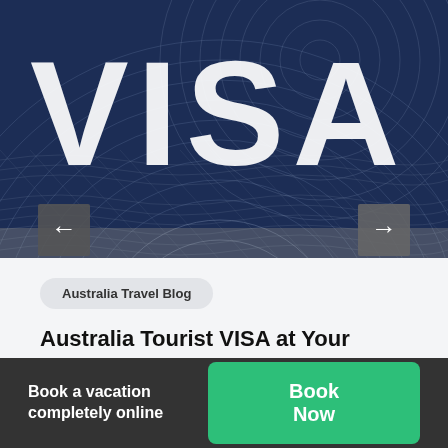[Figure (photo): Close-up photograph of a passport/visa document showing the word VISA in large white letters on a dark blue background with intricate security pattern engravings. Navigation arrows visible on left and right sides.]
Australia Travel Blog
Australia Tourist VISA at Your Fingertips
Prianka May 5, 2020
Book a vacation completely online
Book Now